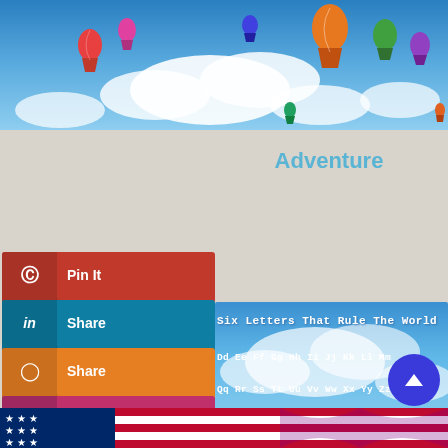[Figure (photo): Hot air balloons flying in blue sky with white clouds — wide banner at top of page]
Adventure
Pin It (Pinterest share button)
Share (LinkedIn share button)
Share (Blogger share button)
Share (Instagram share button)
Goodreads
Tumblr
More
[Figure (screenshot): Alphabet banner image with sky background showing text: Six Letters That Rule The World, Aa Bb Cc Dd Ee Ff Gg Hh Ii Jj Kk Ll Mm, Qq Rr Ss Tt Uu Vv Ww Xx Yy Zz, www.MakeFunOfLife.net/Alphabet]
Alphabet
[Figure (photo): American flag — partial view at bottom of page]